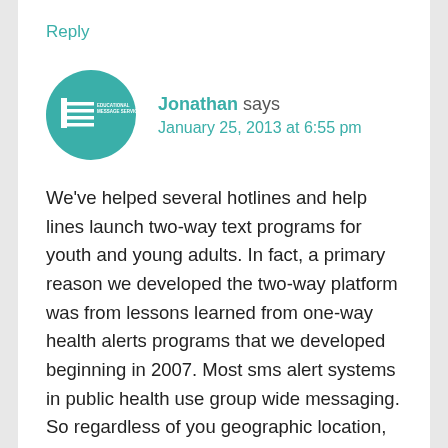Reply
[Figure (logo): Educational Message Services circular green logo with horizontal lines and text]
Jonathan says
January 25, 2013 at 6:55 pm
We've helped several hotlines and help lines launch two-way text programs for youth and young adults. In fact, a primary reason we developed the two-way platform was from lessons learned from one-way health alerts programs that we developed beginning in 2007. Most sms alert systems in public health use group wide messaging. So regardless of you geographic location, you'll get the same messages everyone else gets. Just as one of your readers points out, people tend fatigue